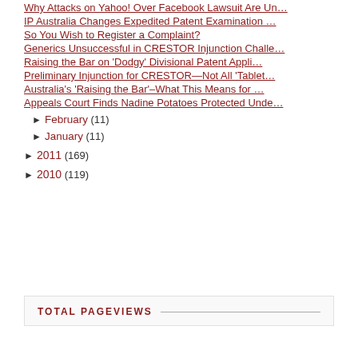Why Attacks on Yahoo! Over Facebook Lawsuit Are Un…
IP Australia Changes Expedited Patent Examination …
So You Wish to Register a Complaint?
Generics Unsuccessful in CRESTOR Injunction Challe…
Raising the Bar on 'Dodgy' Divisional Patent Appli…
Preliminary Injunction for CRESTOR—Not All 'Tablet…
Australia's 'Raising the Bar'–What This Means for …
Appeals Court Finds Nadine Potatoes Protected Unde…
► February (11)
► January (11)
► 2011 (169)
► 2010 (119)
TOTAL PAGEVIEWS